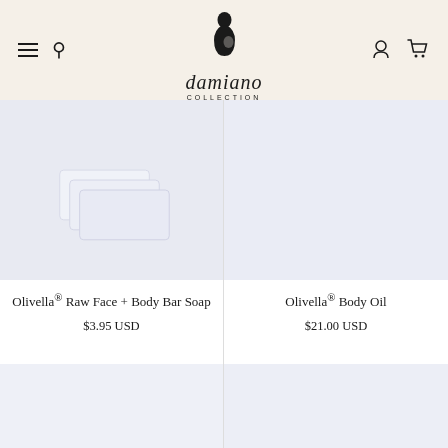[Figure (logo): Damiano Collection logo with stylized female figure silhouette above the text 'damiano COLLECTION' in italic serif font]
Olivella® Raw Face + Body Bar Soap
$3.95 USD
Olivella® Body Oil
$21.00 USD